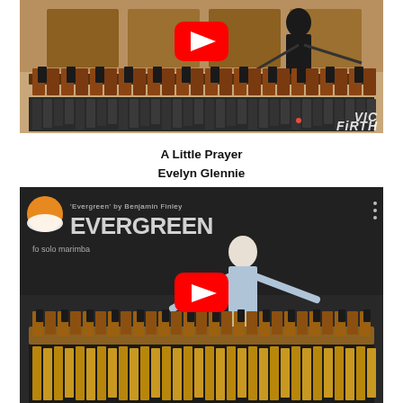[Figure (screenshot): YouTube video thumbnail showing a marimba instrument with 'VIC FIRTH' branding and a play button overlay]
A Little Prayer
Evelyn Glennie
[Figure (screenshot): YouTube video thumbnail for 'Evergreen by Benjamin Finley' for solo marimba, showing a performer playing a marimba with a large red play button overlay]